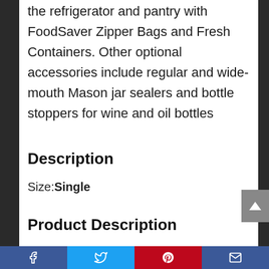the refrigerator and pantry with FoodSaver Zipper Bags and Fresh Containers. Other optional accessories include regular and wide-mouth Mason jar sealers and bottle stoppers for wine and oil bottles
Description
Size:Single
Product Description
Facebook Twitter Pinterest Email